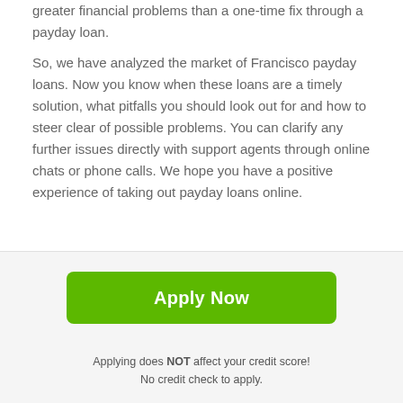greater financial problems than a one-time fix through a payday loan.
So, we have analyzed the market of Francisco payday loans. Now you know when these loans are a timely solution, what pitfalls you should look out for and how to steer clear of possible problems. You can clarify any further issues directly with support agents through online chats or phone calls. We hope you have a positive experience of taking out payday loans online.
Common Uses For a Loan
[Figure (other): Teal/cyan colored bar or button element partially visible at bottom]
[Figure (other): Dark grey square scroll-to-top button with white upward arrow icon]
Apply Now
Applying does NOT affect your credit score!
No credit check to apply.